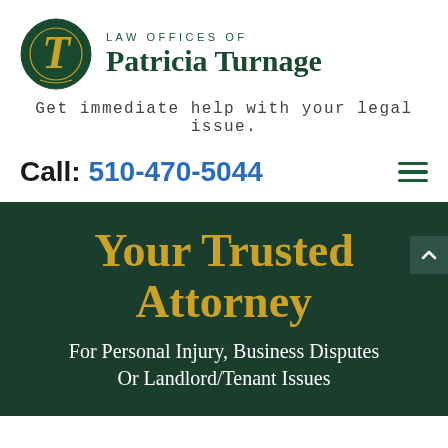[Figure (logo): Law Offices of Patricia Turnage logo — dark green circle with gold italic T initial, beside firm name text]
Get immediate help with your legal issue.
Call: 510-470-5044
Your Trusted Attorney
For Personal Injury, Business Disputes Or Landlord/Tenant Issues